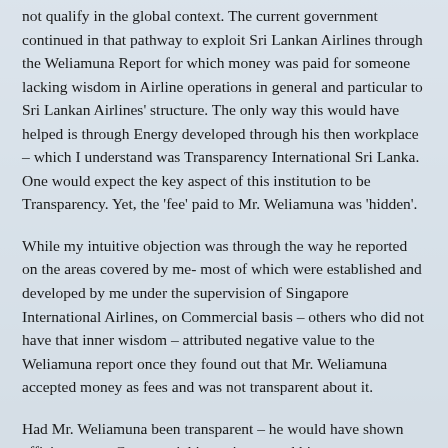not qualify in the global context. The current government continued in that pathway to exploit Sri Lankan Airlines through the Weliamuna Report for which money was paid for someone lacking wisdom in Airline operations in general and particular to Sri Lankan Airlines' structure. The only way this would have helped is through Energy developed through his then workplace – which I understand was Transparency International Sri Lanka. One would expect the key aspect of this institution to be Transparency. Yet, the 'fee' paid to Mr. Weliamuna was 'hidden'.
While my intuitive objection was through the way he reported on the areas covered by me- most of which were established and developed by me under the supervision of Singapore International Airlines, on Commercial basis – others who did not have that inner wisdom – attributed negative value to the Weliamuna report once they found out that Mr. Weliamuna accepted money as fees and was not transparent about it.
Had Mr. Weliamuna been transparent – he would have shown efficiency as a Commercial investigator and his recommendations would have profitable in a financial sense. Given that he was not – he had the duty to decline any money and do it as part of his...